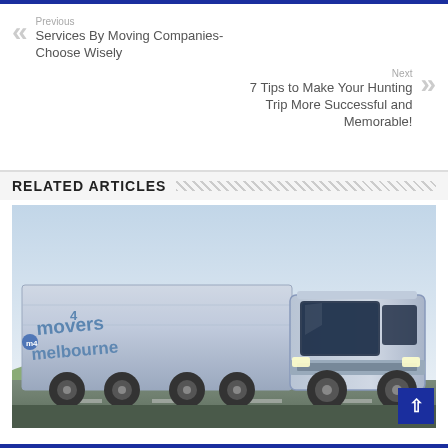Previous
Services By Moving Companies- Choose Wisely
Next
7 Tips to Make Your Hunting Trip More Successful and Memorable!
RELATED ARTICLES
[Figure (photo): A large moving truck with 'movers4melbourne' branding on the side trailer, driving on a road against a blue sky background.]